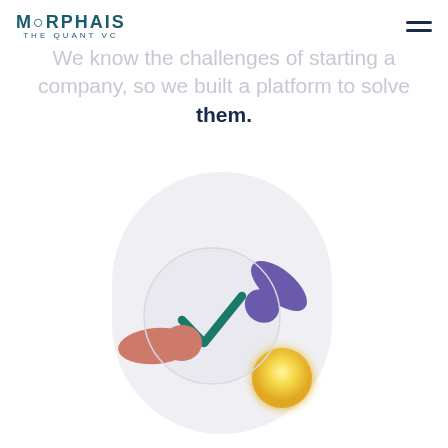MORPHAIS THE QUANT VC
We know the challenges of starting a company, so we built a platform to solve them.
[Figure (illustration): 3D illustration of a rounded pill-shaped white/light gray container with a circular disc in the center displaying a teal/green checkmark. Surrounding the disc are colorful 3D pill/capsule shapes: a mauve/salmon colored capsule on the left, a purple/indigo capsule in the upper right, and a glowing yellow-gold sphere in the lower right. The overall composition sits on a white background.]